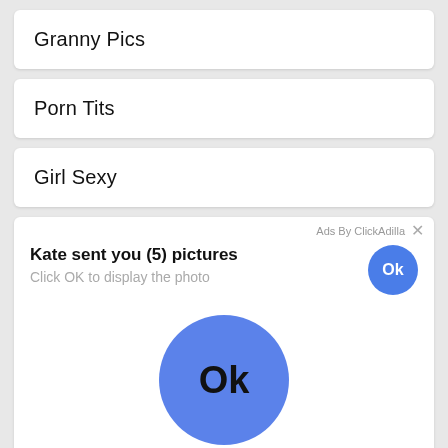Granny Pics
Porn Tits
Girl Sexy
[Figure (screenshot): Ad overlay from ClickAdilla showing 'Kate sent you (5) pictures. Click OK to display the photo' with an Ok button and a large blue Ok circle button below]
Girls With